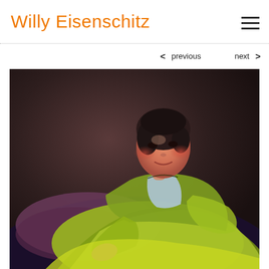Willy Eisenschitz
[Figure (illustration): Hamburger/menu icon — three horizontal dark lines]
[Figure (photo): Painting by Willy Eisenschitz of a young woman in a green dress seated against a dark background, smiling slightly, with rosy cheeks and dark hair]
< previous   next >